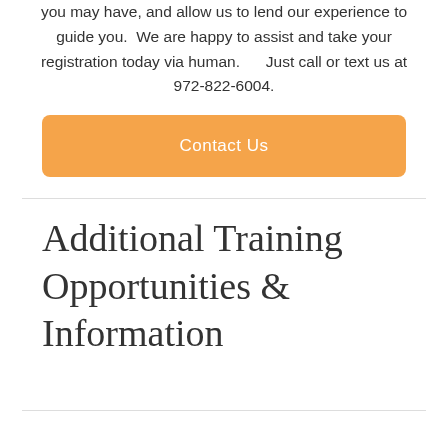you may have, and allow us to lend our experience to guide you.  We are happy to assist and take your registration today via human.      Just call or text us at 972-822-6004.
Contact Us
Additional Training Opportunities & Information